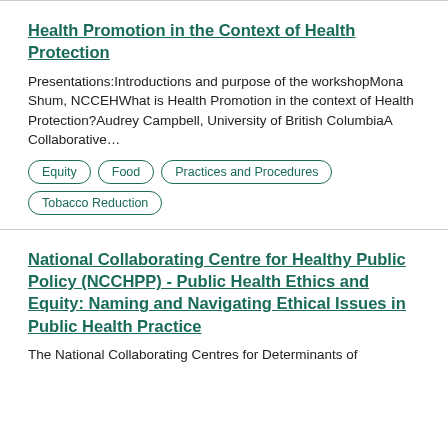Health Promotion in the Context of Health Protection
Presentations:Introductions and purpose of the workshopMona Shum, NCCEHWhat is Health Promotion in the context of Health Protection?Audrey Campbell, University of British ColumbiaA Collaborative...
Equity
Food
Practices and Procedures
Tobacco Reduction
National Collaborating Centre for Healthy Public Policy (NCCHPP) - Public Health Ethics and Equity: Naming and Navigating Ethical Issues in Public Health Practice
The National Collaborating Centres for Determinants of